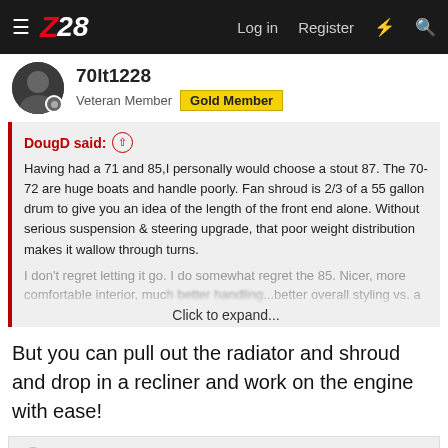Z28 — Log in | Register
70lt1228
Veteran Member | Gold Member
DougD said: ↑
Having had a 71 and 85,I personally would choose a stout 87. The 70-72 are huge boats and handle poorly. Fan shroud is 2/3 of a 55 gallon drum to give you an idea of the length of the front end alone. Without serious suspension & steering upgrade, that poor weight distribution makes it wallow through turns.

I don't regret letting it go. I do somewhat regret the 85. Nicer, more comfortable interior, much better handling, better overall styling vs. a
Click to expand...
But you can pull out the radiator and shroud and drop in a recliner and work on the engine with ease!
🤣 need-for-speed and Zstar